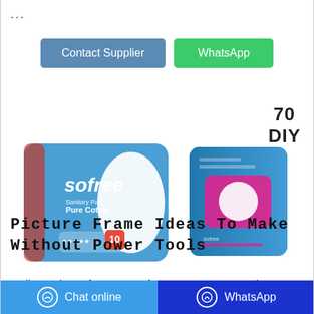...
Contact Supplier   WhatsApp
70
DIY
[Figure (photo): Two product shots of Sofree Pure Cotton sanitary pads in blue packaging, showing front and side/stacked view]
Picture Frame Ideas To Make Without Power Tools
Ordinary picture frames are often more common, and
Chat online   WhatsApp